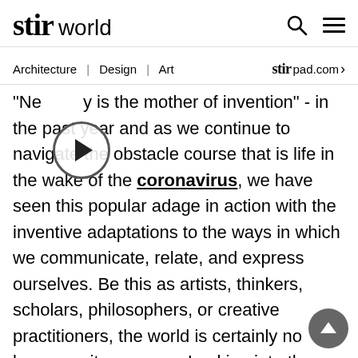stir world — Architecture | Design | Art — stir pad.com
[Figure (other): Circular video play button icon overlaid on article text]
"Necessity is the mother of invention" - in the past year and as we continue to navigate the obstacle course that is life in the wake of the coronavirus, we have seen this popular adage in action with the inventive adaptations to the ways in which we communicate, relate, and express ourselves. Be this as artists, thinkers, scholars, philosophers, or creative practitioners, the world is certainly no longer as it once was. Looking into the varied ways in which arts and culture have been affected and